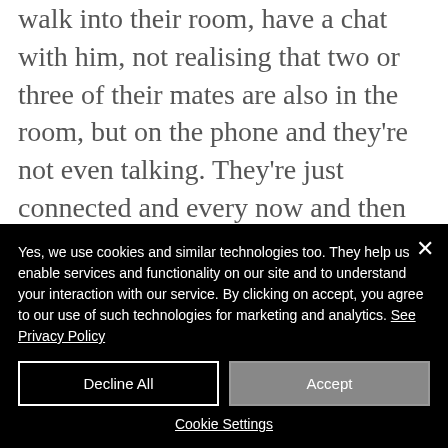walk into their room, have a chat with him, not realising that two or three of their mates are also in the room, but on the phone and they're not even talking. They're just connected and every now and then one of them will say something. Obviously, I always make sure I'm fully clothed now when I walk into my children's rooms, because you never know who else is there, but I'm
Yes, we use cookies and similar technologies too. They help us enable services and functionality on our site and to understand your interaction with our service. By clicking on accept, you agree to our use of such technologies for marketing and analytics. See Privacy Policy
Decline All
Accept
Cookie Settings